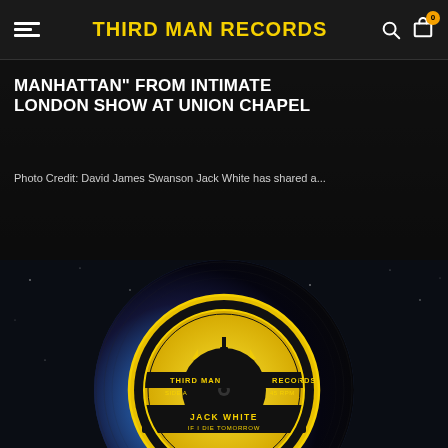THIRD MAN RECORDS
MANHATTAN" FROM INTIMATE LONDON SHOW AT UNION CHAPEL
Photo Credit: David James Swanson Jack White has shared a...
[Figure (photo): Third Man Records vinyl record — blue and black marbled 7-inch with Third Man Records label showing 'JACK WHITE / IF I DIE TOMORROW', Side A, 45 RPM, against a dark starry background]